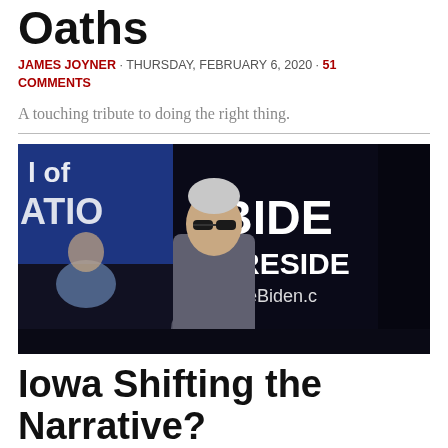Oaths
JAMES JOYNER · THURSDAY, FEBRUARY 6, 2020 · 51 COMMENTS
A touching tribute to doing the right thing.
[Figure (photo): Man in sunglasses and grey coat walking in front of a Biden for President campaign bus with text 'BIDE', 'PRESIDE', 'JoeBiden.c' visible. A woman is partially visible in the background on the left.]
Iowa Shifting the Narrative?